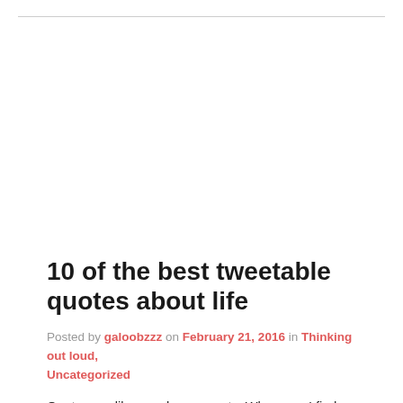10 of the best tweetable quotes about life
Posted by galoobzzz on February 21, 2016 in Thinking out loud, Uncategorized
Quotes are like my aha moments. Whenever I find one that resonates with me, I memorise it and repeat it often.